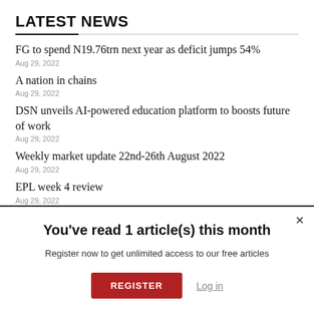LATEST NEWS
FG to spend N19.76trn next year as deficit jumps 54%
Aug 29, 2022
A nation in chains
Aug 29, 2022
DSN unveils AI-powered education platform to boosts future of work
Aug 29, 2022
Weekly market update 22nd-26th August 2022
Aug 29, 2022
EPL week 4 review
Aug 29, 2022
You've read 1 article(s) this month
Register now to get unlimited access to our free articles
REGISTER | Log in